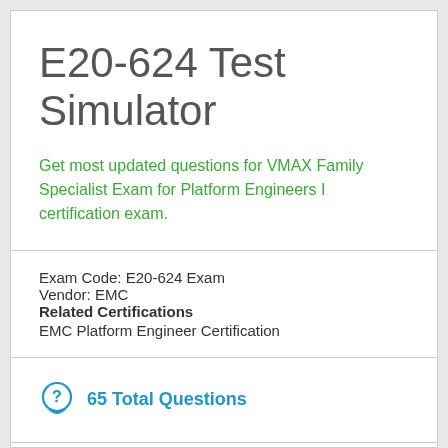E20-624 Test Simulator
Get most updated questions for VMAX Family Specialist Exam for Platform Engineers I certification exam.
Exam Code: E20-624 Exam
Vendor: EMC
Related Certifications
EMC Platform Engineer Certification
65 Total Questions